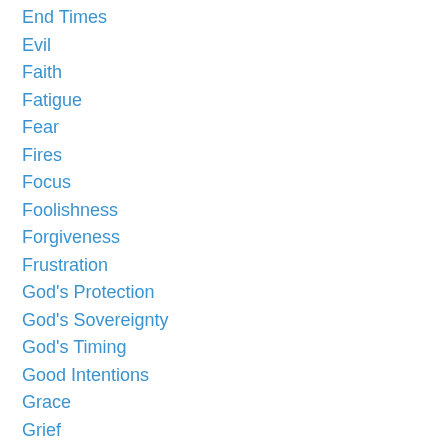End Times
Evil
Faith
Fatigue
Fear
Fires
Focus
Foolishness
Forgiveness
Frustration
God's Protection
God's Sovereignty
God's Timing
Good Intentions
Grace
Grief
Healing
Hell
Holy Spirit
Hopes
Hu…